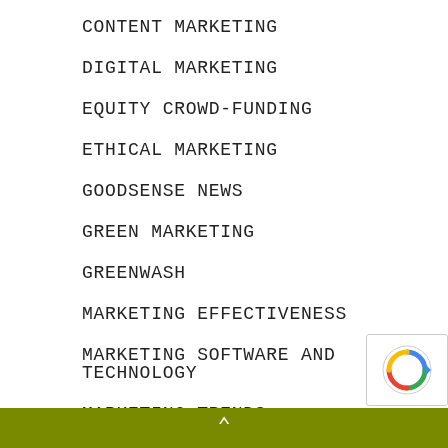CONTENT MARKETING
DIGITAL MARKETING
EQUITY CROWD-FUNDING
ETHICAL MARKETING
GOODSENSE NEWS
GREEN MARKETING
GREENWASH
MARKETING EFFECTIVENESS
MARKETING SOFTWARE AND TECHNOLOGY
MARKETING TRENDS
MESSAGING
NATIVE ADVERTISING
^